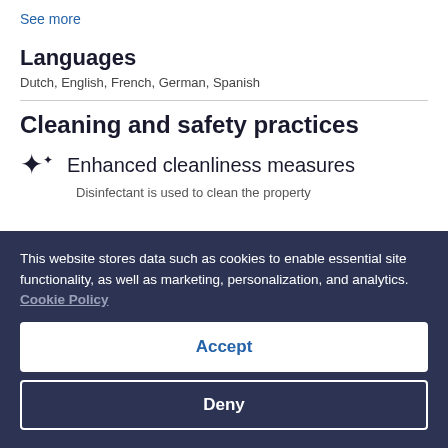See more
Languages
Dutch, English, French, German, Spanish
Cleaning and safety practices
Enhanced cleanliness measures
Disinfectant is used to clean the property
This website stores data such as cookies to enable essential site functionality, as well as marketing, personalization, and analytics. Cookie Policy
Accept
Deny